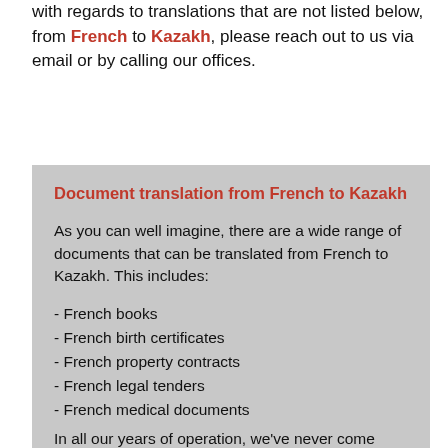with regards to translations that are not listed below, from French to Kazakh, please reach out to us via email or by calling our offices.
Document translation from French to Kazakh
As you can well imagine, there are a wide range of documents that can be translated from French to Kazakh. This includes:
- French books
- French birth certificates
- French property contracts
- French legal tenders
- French medical documents
In all our years of operation, we've never come across a document we couldn't translate from French to Kazakh.